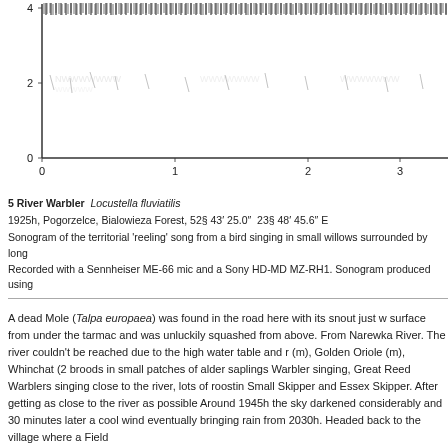[Figure (continuous-plot): Sonogram (spectrogram) showing the territorial reeling song of River Warbler (Locustella fluviatilis). Dense vertical striations across the full frequency top portion (~4 kHz visible), with faint lower harmonics around 2 kHz. X-axis labeled 0 to 3+ (time in seconds), Y-axis labeled 0 to 4 (frequency in kHz).]
5 River Warbler  Locustella fluviatilis
1925h, Pogorzelce, Bialowieza Forest, 52§ 43' 25.0"  23§ 48' 45.6" E
Sonogram of the territorial 'reeling' song from a bird singing in small willows surrounded by long...
Recorded with a Sennheiser ME-66 mic and a Sony HD-MD MZ-RH1. Sonogram produced using...
A dead Mole (Talpa europaea) was found in the road here with its snout just w... surface from under the tarmac and was unluckily squashed from above. From ... Narewka River. The river couldn't be reached due to the high water table and r... (m), Golden Oriole (m), Whinchat (2 broods in small patches of alder saplings... Warbler singing, Great Reed Warblers singing close to the river, lots of roostin... Small Skipper and Essex Skipper. After getting as close to the river as possible... Around 1945h the sky darkened considerably and 30 minutes later a cool wind... eventually bringing rain from 2030h. Headed back to the village where a Field...